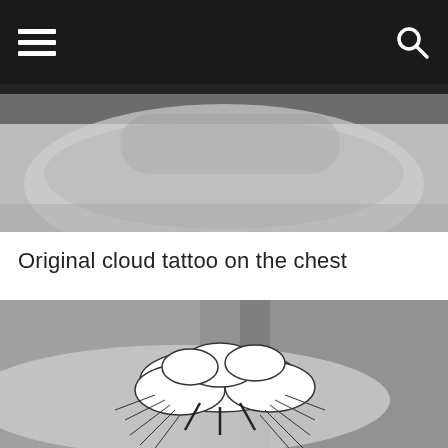Navigation bar with hamburger menu and search icon
[Figure (photo): Black and white close-up photo of a person's neck/chin area]
Original cloud tattoo on the chest
[Figure (photo): Black and white photo of a detailed cloud tattoo with lightning bolts and radiating lines on a person's forearm]